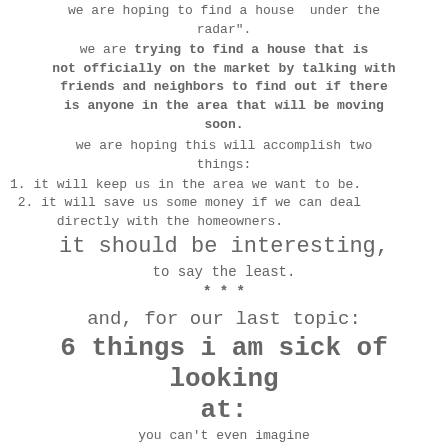we are hoping to find a house  under the radar".
we are trying to find a house that is not officially on the market by talking with friends and neighbors to find out if there is anyone in the area that will be moving soon.
we are hoping this will accomplish two things:
1. it will keep us in the area we want to be.
2. it will save us some money if we can deal directly with the homeowners.
it should be interesting,
to say the least.
* * *
and, for our last topic:
6 things i am sick of looking at:
you can't even imagine